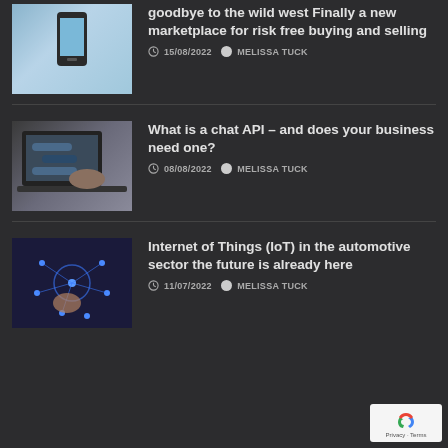[Figure (photo): Smartphone thumbnail image with light blue background]
goodbye to the wild west Finally a new marketplace for risk free buying and selling
15/08/2022 MELISSA TUCK
[Figure (photo): Person typing on laptop, chat/messaging interface visible on screen]
What is a chat API – and does your business need one?
08/08/2022 MELISSA TUCK
[Figure (photo): Hand touching digital IoT network visualization with blue glowing nodes]
Internet of Things (IoT) in the automotive sector the future is already here
11/07/2022 MELISSA TUCK